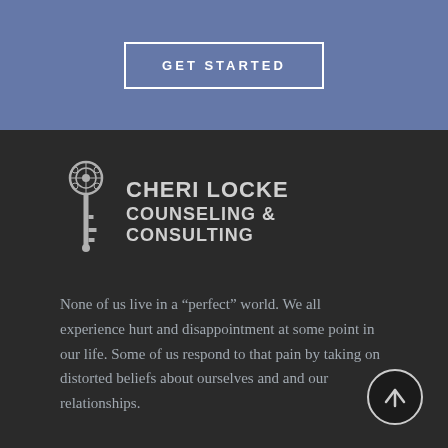[Figure (other): Blue button with white border and text reading GET STARTED in uppercase bold letters]
[Figure (logo): Cheri Locke Counseling & Consulting logo with decorative key icon and business name in white/grey text on dark background]
None of us live in a “perfect” world. We all experience hurt and disappointment at some point in our life. Some of us respond to that pain by taking on distorted beliefs about ourselves and and our relationships.